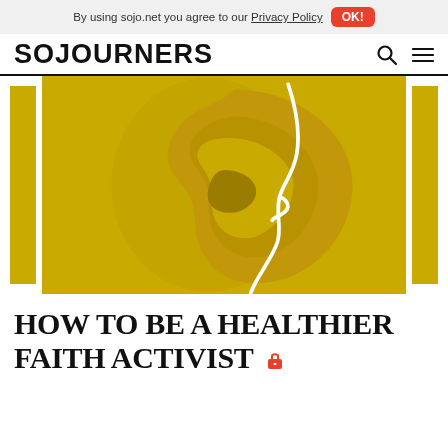By using sojo.net you agree to our Privacy Policy  OK!
SOJOURNERS
[Figure (illustration): Yellow background illustration showing a large human ear in profile. A white curved line runs along the right side suggesting a face silhouette. Two yellow vertical bars flank the central image on the left and right sides.]
HOW TO BE A HEALTHIER FAITH ACTIVIST 🔒